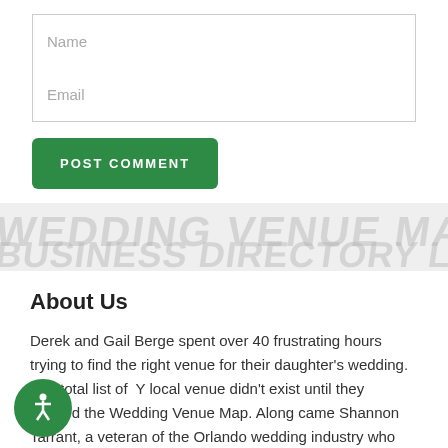Name
Email
POST COMMENT
[Figure (other): Watermark background text in light grey italic/skewed font]
About Us
Derek and Gail Berge spent over 40 frustrating hours trying to find the right venue for their daughter's wedding. The total list of NY local venue didn't exist until they created the Wedding Venue Map. Along came Shannon Tarrant, a veteran of the Orlando wedding industry who saw the potential to help engaged couples by making the process of choosing. And the title was Wedding